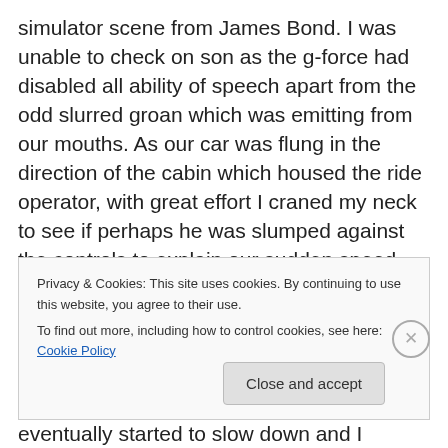simulator scene from James Bond. I was unable to check on son as the g-force had disabled all ability of speech apart from the odd slurred groan which was emitting from our mouths. As our car was flung in the direction of the cabin which housed the ride operator, with great effort I craned my neck to see if perhaps he was slumped against the controls to explain our sudden speed, but he was fine, sat upright displaying his toothless grin. The delighted screams of the passengers had now transformed into horrified shouts as the ride seemed like it was never going to end. Thankfully, it eventually started to slow down and I
Privacy & Cookies: This site uses cookies. By continuing to use this website, you agree to their use.
To find out more, including how to control cookies, see here: Cookie Policy
Close and accept